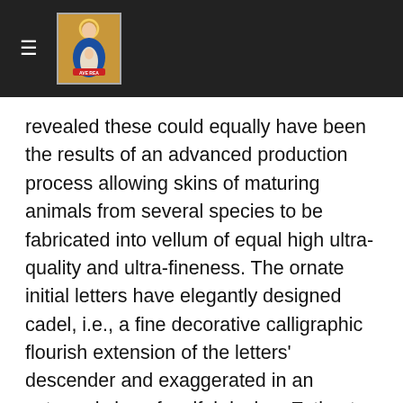≡ [logo image]
revealed these could equally have been the results of an advanced production process allowing skins of maturing animals from several species to be fabricated into vellum of equal high ultra-quality and ultra-fineness. The ornate initial letters have elegantly designed cadel, i.e., a fine decorative calligraphic flourish extension of the letters' descender and exaggerated in an extremely long fanciful design. Estimate for each $250-$500 Write john@numismaticmall.com with bids and for details.
American Magazine of 1791